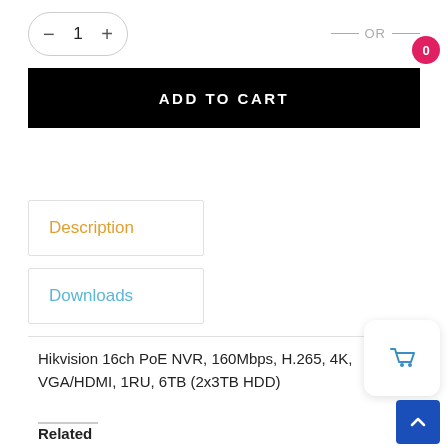[Figure (other): Quantity selector showing minus button, 1, and plus button in a rounded pill shape]
— OR —
[Figure (other): Black ADD TO CART button]
Description
Downloads
Hikvision 16ch PoE NVR, 160Mbps, H.265, 4K, VGA/HDMI, 1RU, 6TB (2x3TB HDD)
Related
[Figure (other): Shopping cart icon widget with pink badge showing 0]
[Figure (other): Blue scroll to top button with up arrow]